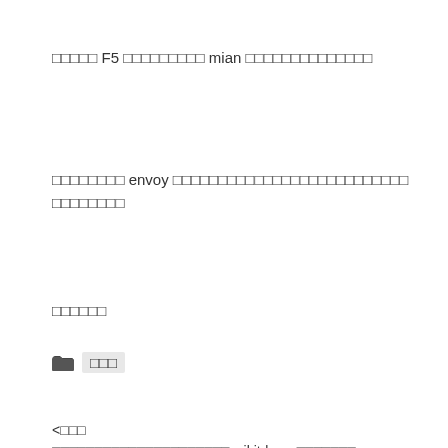□□□□□ F5 □□□□□□□□□ mian □□□□□□□□□□□□□□
□□□□□□□□ envoy □□□□□□□□□□□□□□□□□□□□□□□□□□ □□□□□□□□
□□□□□□
🗂 □□□
<□□□ □□□□□□□□□□□□□□□□□□□□□scikit-learn□□□□□□□